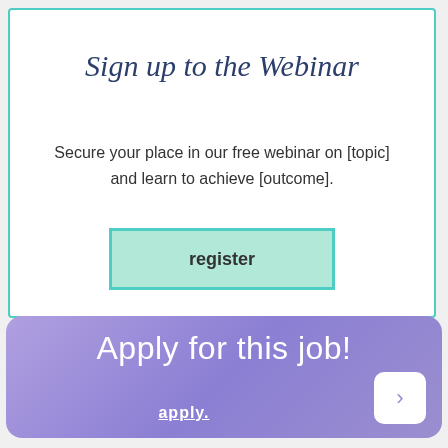Sign up to the Webinar
Secure your place in our free webinar on [topic] and learn to achieve [outcome].
register
Apply for this job!
apply.